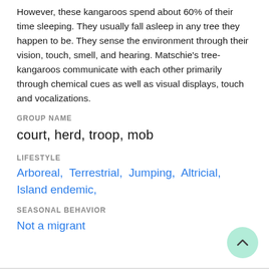However, these kangaroos spend about 60% of their time sleeping. They usually fall asleep in any tree they happen to be. They sense the environment through their vision, touch, smell, and hearing. Matschie's tree-kangaroos communicate with each other primarily through chemical cues as well as visual displays, touch and vocalizations.
GROUP NAME
court, herd, troop, mob
LIFESTYLE
Arboreal,  Terrestrial,  Jumping,  Altricial,  Island endemic,
SEASONAL BEHAVIOR
Not a migrant